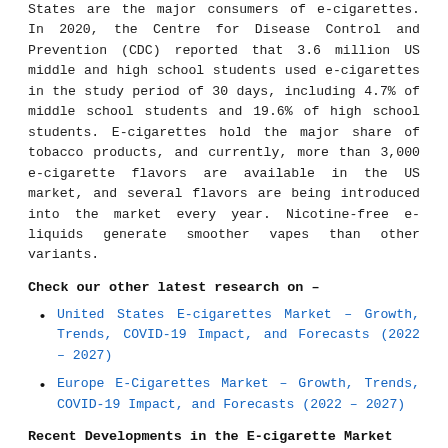States are the major consumers of e-cigarettes. In 2020, the Centre for Disease Control and Prevention (CDC) reported that 3.6 million US middle and high school students used e-cigarettes in the study period of 30 days, including 4.7% of middle school students and 19.6% of high school students. E-cigarettes hold the major share of tobacco products, and currently, more than 3,000 e-cigarette flavors are available in the US market, and several flavors are being introduced into the market every year. Nicotine-free e-liquids generate smoother vapes than other variants.
Check our other latest research on –
United States E-cigarettes Market – Growth, Trends, COVID-19 Impact, and Forecasts (2022 – 2027)
Europe E-Cigarettes Market – Growth, Trends, COVID-19 Impact, and Forecasts (2022 – 2027)
Recent Developments in the E-cigarette Market